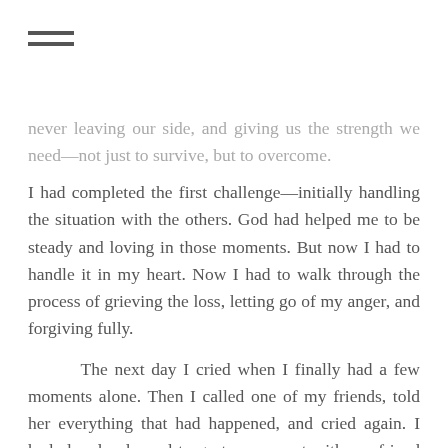≡
never leaving our side, and giving us the strength we need—not just to survive, but to overcome.
I had completed the first challenge—initially handling the situation with the others. God had helped me to be steady and loving in those moments. But now I had to handle it in my heart. Now I had to walk through the process of grieving the loss, letting go of my anger, and forgiving fully.
The next day I cried when I finally had a few moments alone. Then I called one of my friends, told her everything that had happened, and cried again. I had already planned to go to a concert with my friend Erin later that night. I can always just be me with Erin, and so she and I chatted about everything as we drove there. As we were standing in the line for the concert, I kept sighing and putting my face in hands—my involuntary response to the dismay that I was feeling. I apologized to Erin that I couldn't just snap out of it to